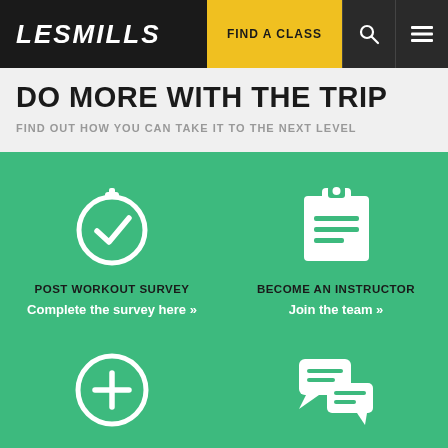LesMills — FIND A CLASS
DO MORE WITH THE TRIP
FIND OUT HOW YOU CAN TAKE IT TO THE NEXT LEVEL
[Figure (infographic): Four green cards with icons: (1) Stopwatch icon — POST WORKOUT SURVEY — Complete the survey here »; (2) Clipboard icon — BECOME AN INSTRUCTOR — Join the team »; (3) Plus-circle icon — GET IT IN YOUR CLUB — Get in touch with our sales team »; (4) Speech bubbles icon — DISCUSS THE TRIP — Got feedback? Join the conversation. »]